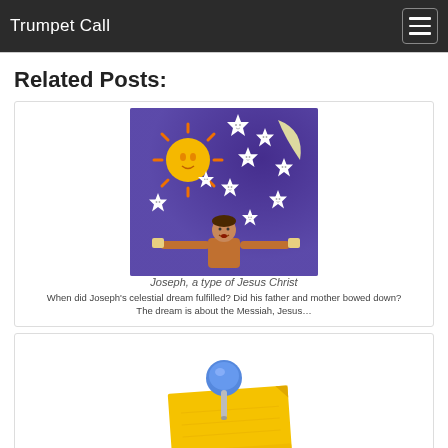Trumpet Call
Related Posts:
[Figure (illustration): Cartoon illustration of Joseph's dream: sun with face, crescent moon, eleven smiling stars on a purple/blue night sky background, and a figure at the bottom holding scrolls]
Joseph, a type of Jesus Christ
When did Joseph's celestial dream fulfilled? Did his father and mother bowed down? The dream is about the Messiah, Jesus…
[Figure (illustration): Clipart of a yellow sticky note pinned with a blue pushpin]